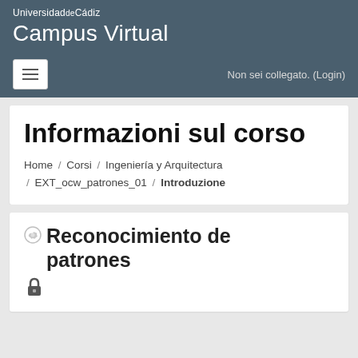UniversidaddeCádiz
Campus Virtual
Non sei collegato. (Login)
Informazioni sul corso
Home / Corsi / Ingeniería y Arquitectura / EXT_ocw_patrones_01 / Introduzione
Reconocimiento de patrones